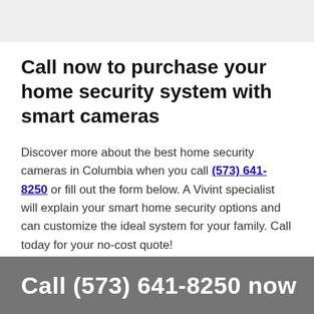Call now to purchase your home security system with smart cameras
Discover more about the best home security cameras in Columbia when you call (573) 641-8250 or fill out the form below. A Vivint specialist will explain your smart home security options and can customize the ideal system for your family. Call today for your no-cost quote!
Call (573) 641-8250 now